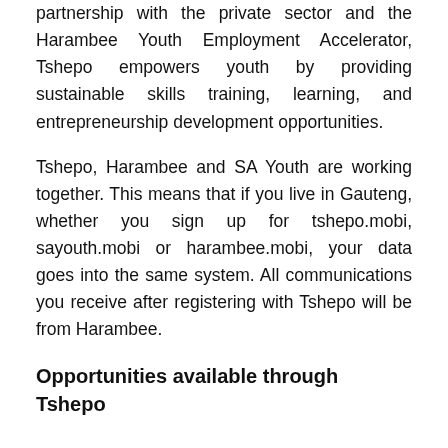partnership with the private sector and the Harambee Youth Employment Accelerator, Tshepo empowers youth by providing sustainable skills training, learning, and entrepreneurship development opportunities.
Tshepo, Harambee and SA Youth are working together. This means that if you live in Gauteng, whether you sign up for tshepo.mobi, sayouth.mobi or harambee.mobi, your data goes into the same system. All communications you receive after registering with Tshepo will be from Harambee.
Opportunities available through Tshepo